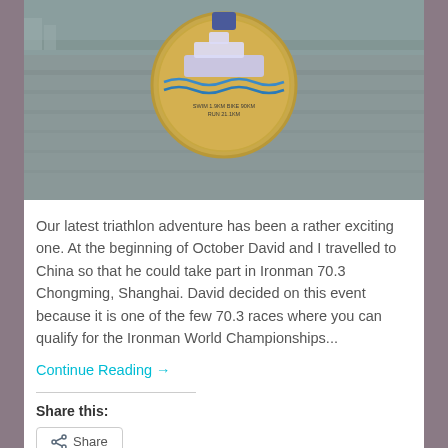[Figure (photo): A circular triathlon medal held up in front of a river or waterway background. The medal features a cruise ship design with blue waves and text reading 'SWIM 1.9KM BIKE 90KM RUN 21.1KM'. The background shows a wide grey-brown river with a hazy skyline.]
Our latest triathlon adventure has been a rather exciting one. At the beginning of October David and I travelled to China so that he could take part in Ironman 70.3 Chongming, Shanghai. David decided on this event because it is one of the few 70.3 races where you can qualify for the Ironman World Championships...
Continue Reading →
Share this: